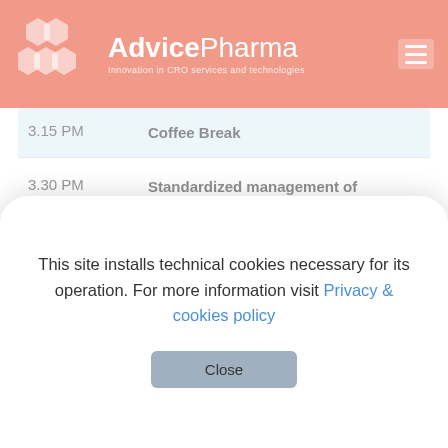AdvicePharma – Innovation in CRO services and technologies
| Time | Session |
| --- | --- |
| 3.15 PM | Coffee Break |
| 3.30 PM | Standardized management of biological samples and data storage |
This site installs technical cookies necessary for its operation. For more information visit Privacy & cookies policy
Close